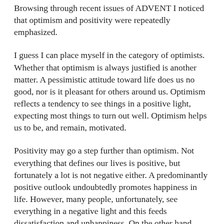Browsing through recent issues of ADVENT I noticed that optimism and positivity were repeatedly emphasized.
I guess I can place myself in the category of optimists. Whether that optimism is always justified is another matter. A pessimistic attitude toward life does us no good, nor is it pleasant for others around us. Optimism reflects a tendency to see things in a positive light, expecting most things to turn out well. Optimism helps us to be, and remain, motivated.
Positivity may go a step further than optimism. Not everything that defines our lives is positive, but fortunately a lot is not negative either. A predominantly positive outlook undoubtedly promotes happiness in life. However, many people, unfortunately, see everything in a negative light and this feeds dissatisfaction and unhappiness. On the other hand, there are many who often close their eyes to reality. They tend to be "cherry-picking"-i.e., taking into account only the things that fit their positive pictures. (Oddly enough, in the